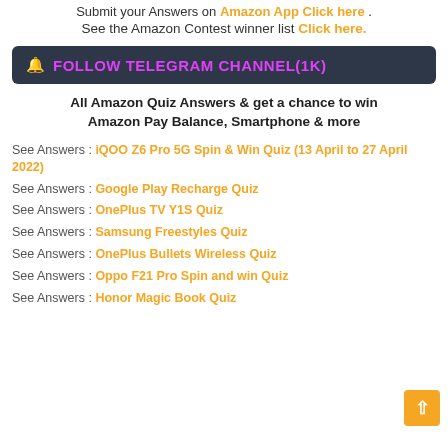Submit your Answers on Amazon App Click here .
See the Amazon Contest winner list Click here.
🔔 FOLLOW TELEGRAM CHANNEL(1K)
All Amazon Quiz Answers & get a chance to win Amazon Pay Balance, Smartphone & more
See Answers : iQOO Z6 Pro 5G Spin & Win Quiz (13 April to 27 April 2022)
See Answers : Google Play Recharge Quiz
See Answers : OnePlus TV Y1S Quiz
See Answers : Samsung Freestyles Quiz
See Answers : OnePlus Bullets Wireless Quiz
See Answers : Oppo F21 Pro Spin and win Quiz
See Answers : Honor Magic Book Quiz